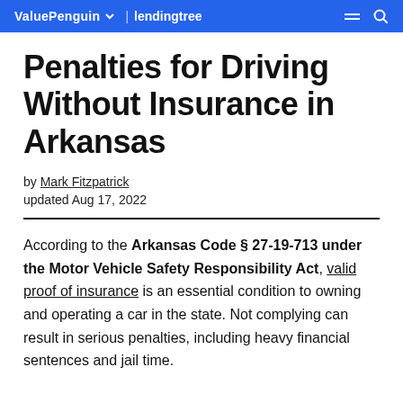ValuePenguin | LendingTree
Penalties for Driving Without Insurance in Arkansas
by Mark Fitzpatrick
updated Aug 17, 2022
According to the Arkansas Code § 27-19-713 under the Motor Vehicle Safety Responsibility Act, valid proof of insurance is an essential condition to owning and operating a car in the state. Not complying can result in serious penalties, including heavy financial sentences and jail time.